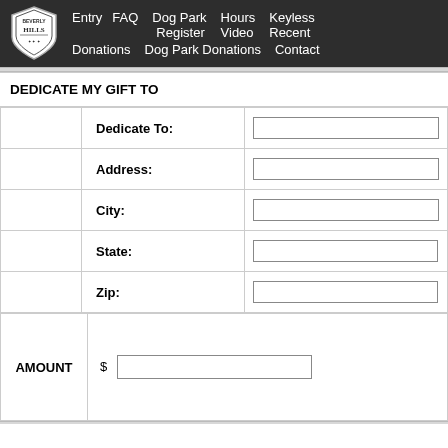Entry  FAQ  Dog Park Register  Hours Video  Keyless Recent  Donations  Dog Park Donations  Contact
DEDICATE MY GIFT TO
|  | Field | Input |
| --- | --- | --- |
|  | Dedicate To: |  |
|  | Address: |  |
|  | City: |  |
|  | State: |  |
|  | Zip: |  |
| AMOUNT | $ [input] |
| --- | --- |
| AMOUNT | $  |